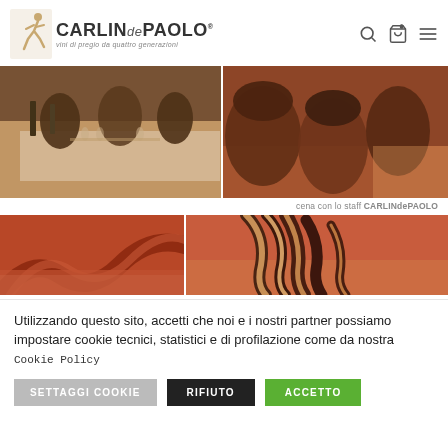[Figure (logo): CARLINdePAOLO logo with running figure and tagline 'vini di pregio da quattro generazioni']
[Figure (photo): People seated at a long dining table with wine bottles and glasses - left panel]
[Figure (photo): People at a dinner event, faces visible - right panel]
cena con lo staff CARLINdePAOLO
[Figure (photo): Close-up of decorative curved chair or furniture element - left bottom panel]
[Figure (photo): Close-up of decorative striped curved furniture or object - right bottom panel]
Utilizzando questo sito, accetti che noi e i nostri partner possiamo impostare cookie tecnici, statistici e di profilazione come da nostra Cookie Policy
SETTAGGI COOKIE
RIFIUTO
ACCETTO